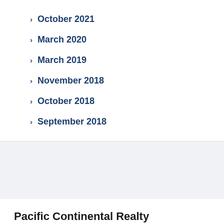October 2021
March 2020
March 2019
November 2018
October 2018
September 2018
Pacific Continental Realty
A Bellingham commercial real estate and property management company specializing in office, retail, industrial